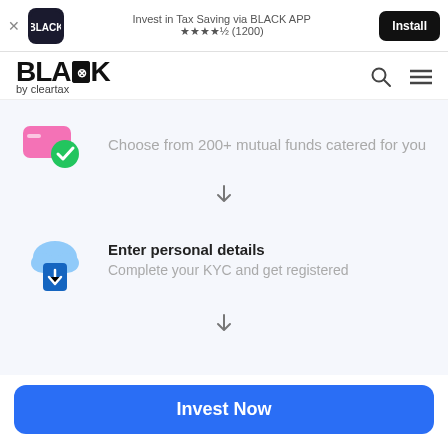[Figure (screenshot): App install banner: X close button, BLACK app icon, 'Invest in Tax Saving via BLACK APP' with star rating (1200), Install button]
[Figure (logo): BLACK by cleartax logo with search and menu icons]
[Figure (illustration): Pink toggle/card icon with checkmark]
Choose from 200+ mutual funds catered for you
[Figure (illustration): Down arrow separator]
[Figure (illustration): Blue cloud with upload document icon]
Enter personal details
Complete your KYC and get registered
[Figure (illustration): Down arrow separator]
Invest Now